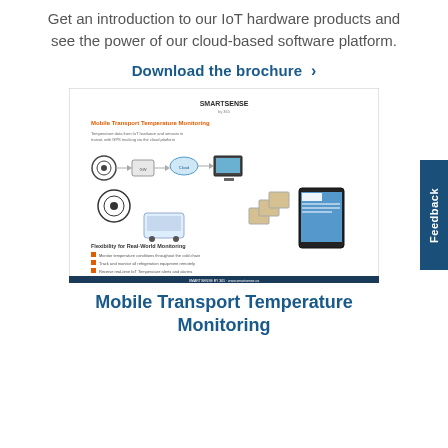Get an introduction to our IoT hardware products and see the power of our cloud-based software platform.
Download the brochure  >
[Figure (infographic): SmartSense Mobile Transport Temperature Monitoring brochure thumbnail showing an IoT network diagram with sensors, cloud connectivity, and a monitoring dashboard]
Mobile Transport Temperature Monitoring